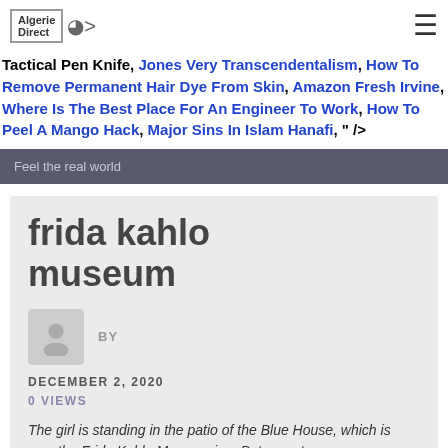Algerie Direct
Tactical Pen Knife, Jones Very Transcendentalism, How To Remove Permanent Hair Dye From Skin, Amazon Fresh Irvine, Where Is The Best Place For An Engineer To Work, How To Peel A Mango Hack, Major Sins In Islam Hanafi, " />
Feel the real world
frida kahlo museum
BY
DECEMBER 2, 2020
0 VIEWS
The girl is standing in the patio of the Blue House, which is now the Frida Kahlo Museum in... Patrons at